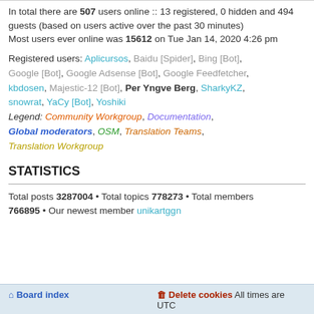In total there are 507 users online :: 13 registered, 0 hidden and 494 guests (based on users active over the past 30 minutes)
Most users ever online was 15612 on Tue Jan 14, 2020 4:26 pm
Registered users: Aplicursos, Baidu [Spider], Bing [Bot], Google [Bot], Google Adsense [Bot], Google Feedfetcher, kbdosen, Majestic-12 [Bot], Per Yngve Berg, SharkyKZ, snowrat, YaCy [Bot], Yoshiki
Legend: Community Workgroup, Documentation, Global moderators, OSM, Translation Teams, Translation Workgroup
STATISTICS
Total posts 3287004 • Total topics 778273 • Total members 766895 • Our newest member unikartggn
Board index   Delete cookies  All times are UTC